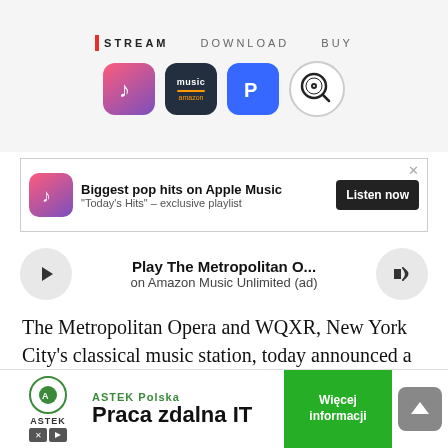[Figure (screenshot): Streaming service icons area showing STREAM, DOWNLOAD, BUY navigation with Apple Music, Amazon Music, Pandora, and record search icons]
[Figure (screenshot): Apple Music advertisement banner: 'Biggest pop hits on Apple Music - Today's Hits exclusive playlist' with Listen now button]
[Figure (screenshot): Amazon Music Unlimited audio player widget: Play The Metropolitan O... on Amazon Music Unlimited (ad)]
The Metropolitan Opera and WQXR, New York City’s classical music station, today announced a second season of “Aria Code” — the critically-acclaimed podcast about opera’s most legendary arias — debuting Wednesday, November 13.
[Figure (screenshot): ASTEK Polska advertisement banner: Praca zdalna IT, Wiecej informacji button]